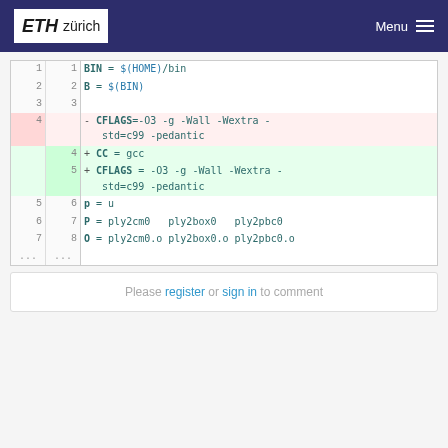ETH zürich — Menu
| old | new |  | code |
| --- | --- | --- | --- |
| 1 | 1 |  | BIN = $(HOME)/bin |
| 2 | 2 |  | B = $(BIN) |
| 3 | 3 |  |  |
| 4 |  | -  | CFLAGS=-O3 -g -Wall -Wextra -std=c99 -pedantic |
|  | 4 | +  | CC = gcc |
|  | 5 | +  | CFLAGS = -O3 -g -Wall -Wextra -std=c99 -pedantic |
| 5 | 6 |  | p = u |
| 6 | 7 |  | P = ply2cm0   ply2box0   ply2pbc0 |
| 7 | 8 |  | O = ply2cm0.o ply2box0.o ply2pbc0.o |
| ... | ... |  |  |
Please register or sign in to comment